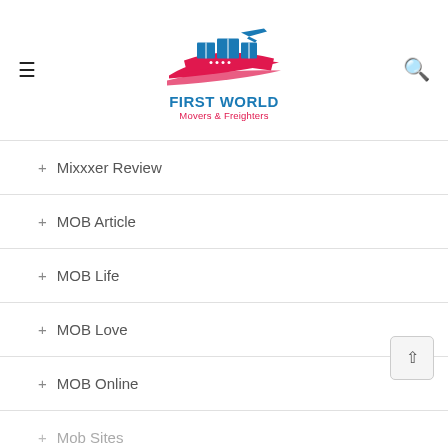[Figure (logo): First World Movers & Freighters logo with ship and airplane graphic in blue and red]
+ Mixxxer Review
+ MOB Article
+ MOB Life
+ MOB Love
+ MOB Online
+ Mob Sites